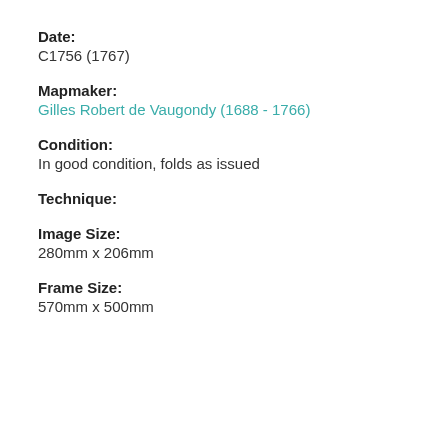Date:
C1756 (1767)
Mapmaker:
Gilles Robert de Vaugondy (1688 - 1766)
Condition:
In good condition, folds as issued
Technique:
Image Size:
280mm x 206mm
Frame Size:
570mm x 500mm